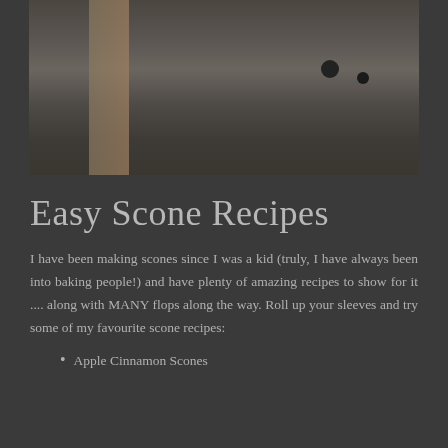[Figure (photo): Partial view of a food/baking scene, showing a wooden spoon or utensil against a light-colored background, with two dark round objects visible in the lower right area of the image.]
Easy Scone Recipes
I have been making scones since I was a kid (truly, I have always been into baking people!) and have plenty of amazing recipes to show for it .... along with MANY flops along the way. Roll up your sleeves and try some of my favourite scone recipes:
Apple Cinnamon Scones